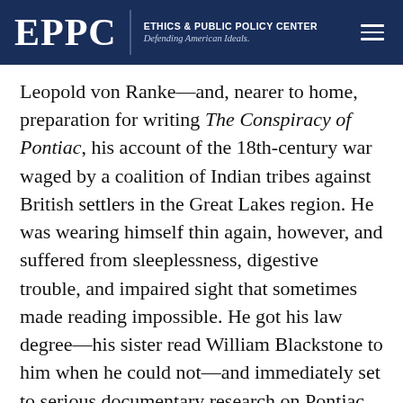EPPC | ETHICS & PUBLIC POLICY CENTER Defending American Ideals.
Leopold von Ranke—and, nearer to home, preparation for writing The Conspiracy of Pontiac, his account of the 18th-century war waged by a coalition of Indian tribes against British settlers in the Great Lakes region. He was wearing himself thin again, however, and suffered from sleeplessness, digestive trouble, and impaired sight that sometimes made reading impossible. He got his law degree—his sister read William Blackstone to him when he could not—and immediately set to serious documentary research on Pontiac, but his health so deteriorated that another urgent respite was called for.